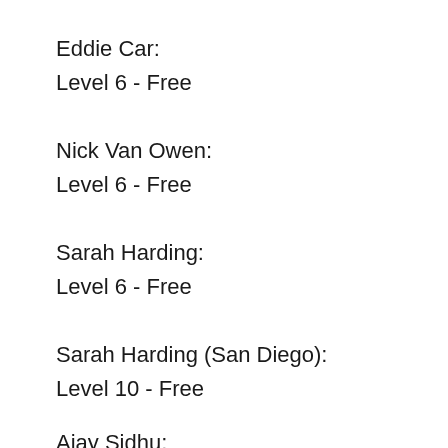Eddie Car:
Level 6 - Free
Nick Van Owen:
Level 6 - Free
Sarah Harding:
Level 6 - Free
Sarah Harding (San Diego):
Level 10 - Free
Ajay Sidhu:
Level 7 - Free